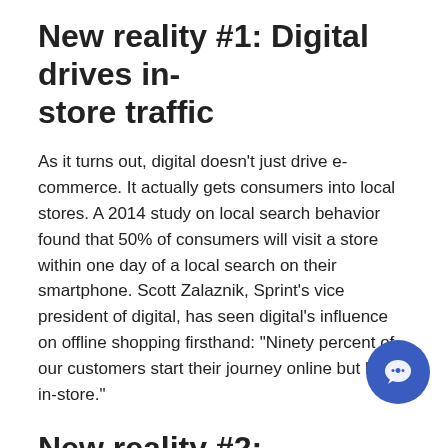New reality #1: Digital drives in-store traffic
As it turns out, digital doesn’t just drive e-commerce. It actually gets consumers into local stores. A 2014 study on local search behavior found that 50% of consumers will visit a store within one day of a local search on their smartphone. Scott Zalaznik, Sprint’s vice president of digital, has seen digital’s influence on offline shopping firsthand: “Ninety percent of our customers start their journey online but buy in-store.”
New reality #2: Smartphones are in-store shopping assista…
Thanks to our constantly connected world, we’ve